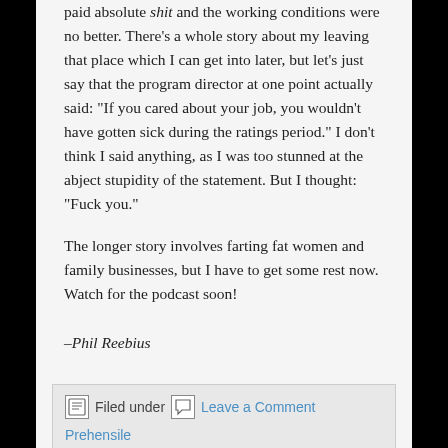paid absolute shit and the working conditions were no better. There's a whole story about my leaving that place which I can get into later, but let's just say that the program director at one point actually said: "If you cared about your job, you wouldn't have gotten sick during the ratings period." I don't think I said anything, as I was too stunned at the abject stupidity of the statement. But I thought: "Fuck you."

The longer story involves farting fat women and family businesses, but I have to get some rest now. Watch for the podcast soon!
–Phil Reebius
Filed under  Leave a Comment  Prehensile